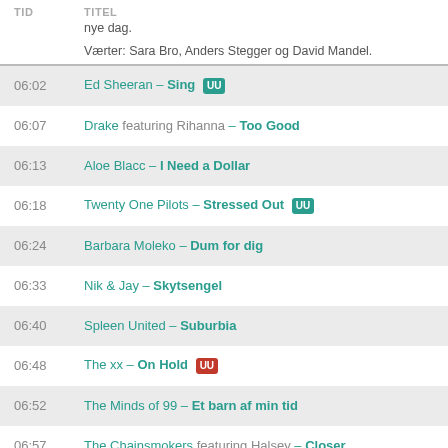TID   TITEL
nye dag.
Værter: Sara Bro, Anders Stegger og David Mandel.
06:02  Ed Sheeran – Sing [UU]
06:07  Drake featuring Rihanna – Too Good
06:13  Aloe Blacc – I Need a Dollar
06:18  Twenty One Pilots – Stressed Out [UU]
06:24  Barbara Moleko – Dum for dig
06:33  Nik & Jay – Skytsengel
06:40  Spleen United – Suburbia
06:48  The xx – On Hold [UU]
06:52  The Minds of 99 – Et barn af min tid
06:57  The Chainsmokers featuring Halsey – Closer
07:04  Scarlet Pleasure – Windy [UU]
07:12  Neiked featuring Dyo – SEXUAL [UU]
07:18  Major Lazer featuring Ellie Goulding & Tarrus Riley – Powerful
07:22  Off Bloom – Love to Hate It [UU]